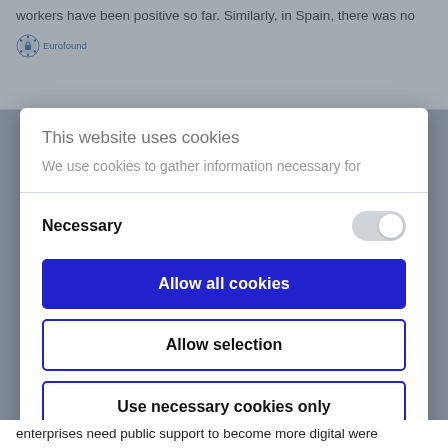workers have been positive so far. Similarly, in Spain, there was no
[Figure (logo): Eurofound logo — small blue/teal EU star circle icon with 'Eurofound' text]
This website uses cookies
We use cookies to gather information necessary for
Necessary
Allow all cookies
Allow selection
Use necessary cookies only
Powered by Cookiebot by Usercentrics
enterprises need public support to become more digital were